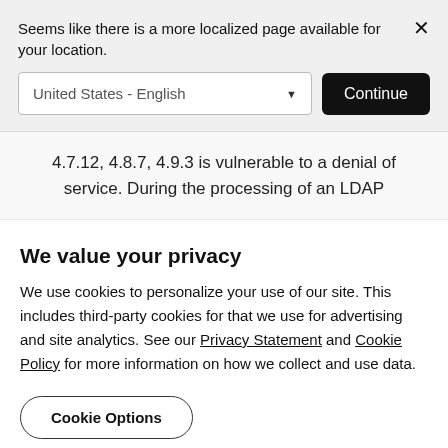Seems like there is a more localized page available for your location.
United States - English
Continue
4.7.12, 4.8.7, 4.9.3 is vulnerable to a denial of service. During the processing of an LDAP
We value your privacy
We use cookies to personalize your use of our site. This includes third-party cookies for that we use for advertising and site analytics. See our Privacy Statement and Cookie Policy for more information on how we collect and use data.
Cookie Options
OK